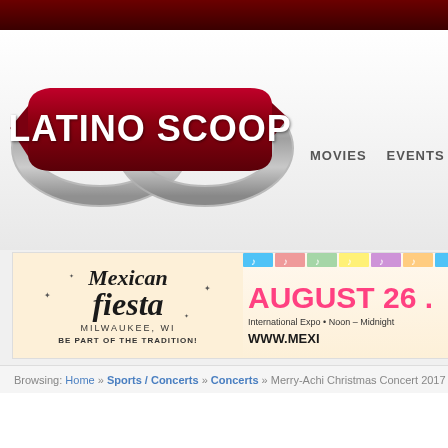[Figure (logo): Latino Scoop logo with silver ribbon and dark red banner]
MOVIES   EVENTS
[Figure (screenshot): Mexican Fiesta Milwaukee WI advertisement banner - August 26, International Expo, Noon-Midnight, www.mexicanfiesta.org]
Browsing: Home » Sports / Concerts » Concerts » Merry-Achi Christmas Concert 2017